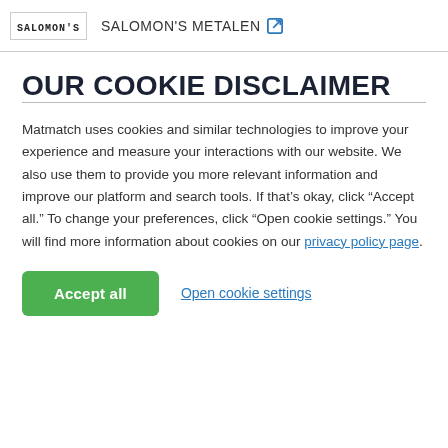SALOMON'S | SALOMON'S METALEN
OUR COOKIE DISCLAIMER
Matmatch uses cookies and similar technologies to improve your experience and measure your interactions with our website. We also use them to provide you more relevant information and improve our platform and search tools. If that's okay, click “Accept all.” To change your preferences, click “Open cookie settings.” You will find more information about cookies on our privacy policy page.
Accept all
Open cookie settings